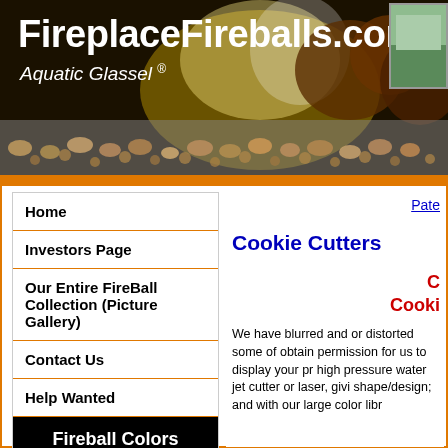FireplaceFireballs.com
Aquatic Glassel ®
Home
Investors Page
Our Entire FireBall Collection (Picture Gallery)
Contact Us
Help Wanted
Fireball Colors
Pate
Cookie Cutters
C
Cooki
We have blurred and or distorted some of obtain permission for us to display your pr high pressure water jet cutter or laser, givi shape/design; and with our large color libr